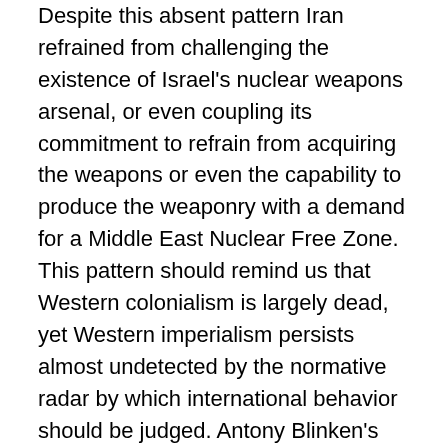Despite this absent pattern Iran refrained from challenging the existence of Israel's nuclear weapons arsenal, or even coupling its commitment to refrain from acquiring the weapons or even the capability to produce the weaponry with a demand for a Middle East Nuclear Free Zone. This pattern should remind us that Western colonialism is largely dead, yet Western imperialism persists almost undetected by the normative radar by which international behavior should be judged. Antony Blinken's 'rules-governed' international order has some gaping black holes, and Iran continues to be victimized in the process, while Blinken's silence is totally overlooked.
Finally, two statements indicative of Israel's rogue behavioral ethos toward Iran. The Defense Minister, and alternate opponent of Netanyahu, Benny Gantz speaking on June 24, 2021 put his view of Iran in direct language: